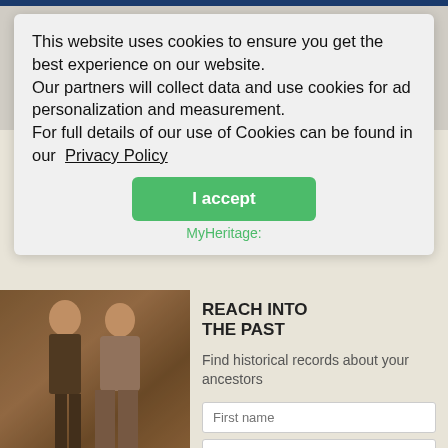Who are you looking for?
This website uses cookies to ensure you get the best experience on our website. Our partners will collect data and use cookies for ad personalization and measurement. For full details of our use of Cookies can be found in our Privacy Policy
I accept
MyHeritage:
REACH INTO THE PAST
Find historical records about your ancestors
First name
Last name